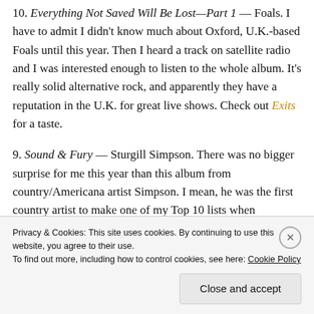10. Everything Not Saved Will Be Lost—Part 1 — Foals. I have to admit I didn't know much about Oxford, U.K.-based Foals until this year. Then I heard a track on satellite radio and I was interested enough to listen to the whole album. It's really solid alternative rock, and apparently they have a reputation in the U.K. for great live shows. Check out Exits for a taste.
9. Sound & Fury — Sturgill Simpson. There was no bigger surprise for me this year than this album from country/Americana artist Simpson. I mean, he was the first country artist to make one of my Top 10 lists when
Privacy & Cookies: This site uses cookies. By continuing to use this website, you agree to their use. To find out more, including how to control cookies, see here: Cookie Policy
Close and accept